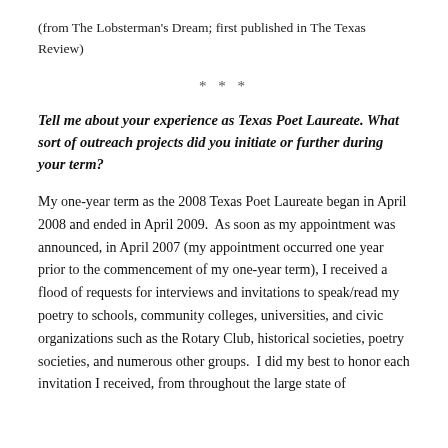(from The Lobsterman's Dream; first published in The Texas Review)
* * *
Tell me about your experience as Texas Poet Laureate. What sort of outreach projects did you initiate or further during your term?
My one-year term as the 2008 Texas Poet Laureate began in April 2008 and ended in April 2009.  As soon as my appointment was announced, in April 2007 (my appointment occurred one year prior to the commencement of my one-year term), I received a flood of requests for interviews and invitations to speak/read my poetry to schools, community colleges, universities, and civic organizations such as the Rotary Club, historical societies, poetry societies, and numerous other groups.  I did my best to honor each invitation I received, from throughout the large state of